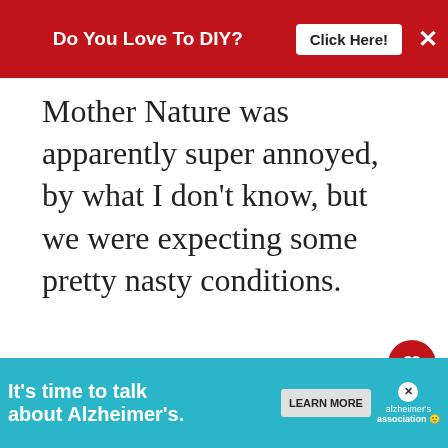Do You Love To DIY? Click Here!
Mother Nature was apparently super annoyed, by what I don't know, but we were expecting some pretty nasty conditions.
Not a nor'easter, not a blizzard, but a bomb cyclone.
I frankly don't even know what that is, e... nd.
[Figure (other): Heart/like button icon (red circle with white heart)]
[Figure (other): Share button icon (white circle with share icon)]
[Figure (other): What's Next thumbnail with text: Gathering Summer]
[Figure (other): Bottom advertisement banner: It's time to talk about Alzheimer's. LEARN MORE. Alzheimer's Association logo.]